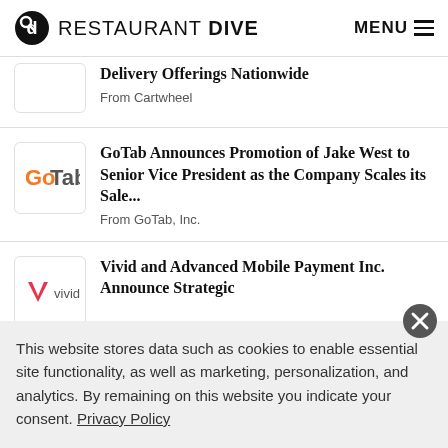RESTAURANT DIVE | MENU
Delivery Offerings Nationwide
From Cartwheel
GoTab Announces Promotion of Jake West to Senior Vice President as the Company Scales its Sale...
From GoTab, Inc.
Vivid and Advanced Mobile Payment Inc. Announce Strategic
This website stores data such as cookies to enable essential site functionality, as well as marketing, personalization, and analytics. By remaining on this website you indicate your consent. Privacy Policy